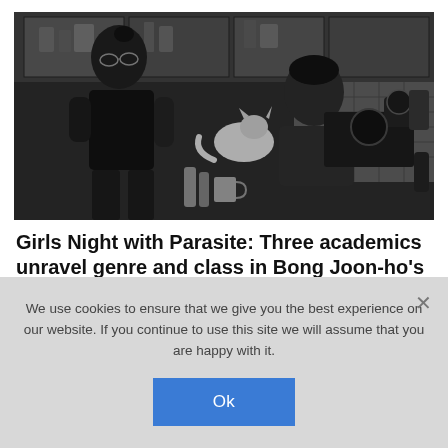[Figure (photo): Black and white photograph of two people in a kitchen setting with camera equipment. One person stands on the left wearing a black t-shirt and glasses, the other sits on the right operating a camera rig.]
Girls Night with Parasite: Three academics unravel genre and class in Bong Joon-ho's historic film
We use cookies to ensure that we give you the best experience on our website. If you continue to use this site we will assume that you are happy with it.